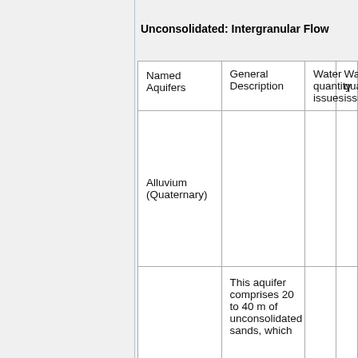Unconsolidated: Intergranular Flow
| Named Aquifers | General Description | Water quantity issues | Water quality issues |
| --- | --- | --- | --- |
| Alluvium (Quaternary) |  |  |  |
|  | This aquifer comprises 20 to 40 m of unconsolidated sands, which |  |  |